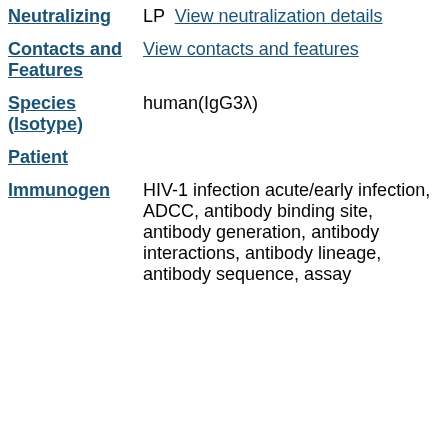LP  View neutralization details
Neutralizing — View neutralization details
Contacts and Features — View contacts and features
Species (Isotype) — human(IgG3λ)
Patient
Immunogen — HIV-1 infection acute/early infection, ADCC, antibody binding site, antibody generation, antibody interactions, antibody lineage, antibody sequence, assay